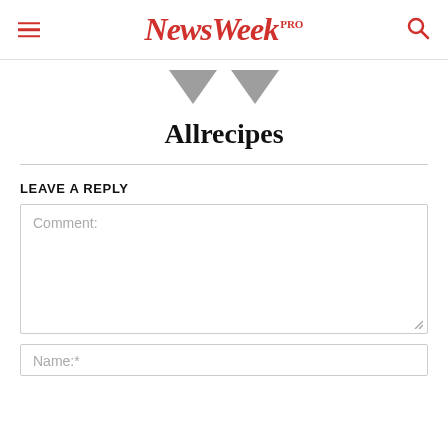NewsWeek PRO
[Figure (illustration): Two downward-pointing gray triangles centered on a white background]
Allrecipes
LEAVE A REPLY
Comment: [text area field]
Name:* [input field]